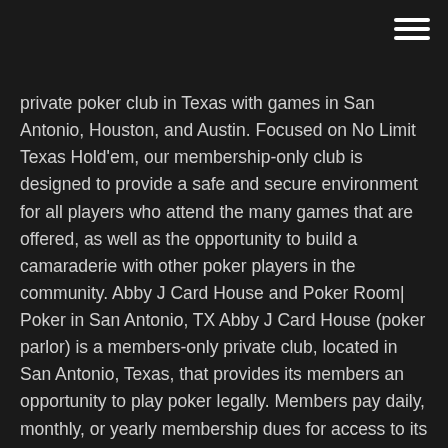private poker club in Texas with games in San Antonio, Houston, and Austin. Focused on No Limit Texas Hold'em, our membership-only club is designed to provide a safe and secure environment for all players who attend the many games that are offered, as well as the opportunity to build a camaraderie with other poker players in the community. Abby J Card House and Poker Room| Poker in San Antonio, TX Abby J Card House (poker parlor) is a members-only private club, located in San Antonio, Texas, that provides its members an opportunity to play poker legally. Members pay daily, monthly, or yearly membership dues for access to its poker room. Alamo Card House $80 Freeze Out TOURNAMENT Tonight @7PM . Back to Top. 210-267-9984 | 2899 NE LOOP 410 All Texas Poker Rooms - Poker Room